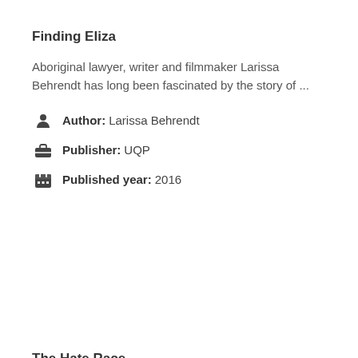Finding Eliza
Aboriginal lawyer, writer and filmmaker Larissa Behrendt has long been fascinated by the story of ...
Author: Larissa Behrendt
Publisher: UQP
Published year: 2016
The Hate Race
Suburban Australia. Sweltering heat. Three bedroom